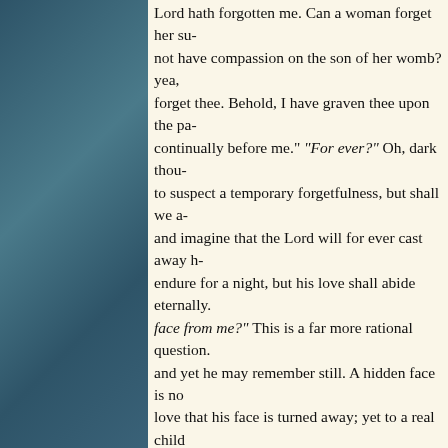Lord hath forgotten me. Can a woman forget her su- not have compassion on the son of her womb? yea, forget thee. Behold, I have graven thee upon the pa- continually before me." "For ever?" Oh, dark thou- to suspect a temporary forgetfulness, but shall we a- and imagine that the Lord will for ever cast away h- endure for a night, but his love shall abide eternally. face from me?" This is a far more rational question. and yet he may remember still. A hidden face is no love that his face is turned away; yet to a real child Father's face is terrible and he will never be at ease Father's smile.
Verse 2. "How long shall I take counsel, in my soul, daily?" There is in the original the idea of "laying u- his devices had become innumerable but unavailing- like David, for we have considered and reconsidered- discovered the happy device by which to escape fro- sad sore. Ruminating upon trouble is bitter work. C- bitterness when they rebelliously chew the pill whi- have taken at once. "How long shall my enemy be e- wormwood in the gall, to see the wicked enemy ex-